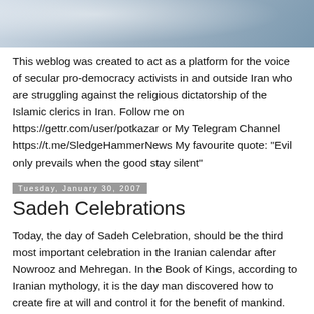[Figure (photo): Partial photo cropped at top of page, showing people in light-colored clothing, blurred background]
This weblog was created to act as a platform for the voice of secular pro-democracy activists in and outside Iran who are struggling against the religious dictatorship of the Islamic clerics in Iran. Follow me on https://gettr.com/user/potkazar or My Telegram Channel https://t.me/SledgeHammerNews My favourite quote: "Evil only prevails when the good stay silent"
Tuesday, January 30, 2007
Sadeh Celebrations
Today, the day of Sadeh Celebration, should be the third most important celebration in the Iranian calendar after Nowrooz and Mehregan. In the Book of Kings, according to Iranian mythology, it is the day man discovered how to create fire at will and control it for the benefit of mankind.
Traditional celebration of Sadeh involves lighting a big fire